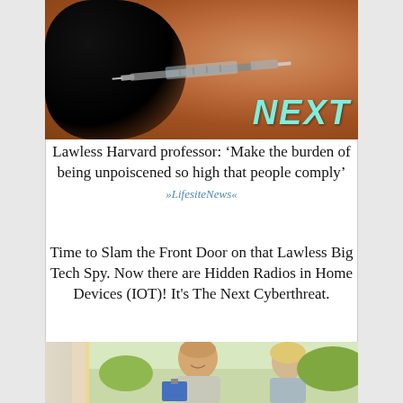[Figure (photo): A dark silhouette with a syringe overlaid on a crowd of people with raised hands, with 'NEXT' in cyan italic text in the bottom right corner]
Lawless Harvard professor: ‘Make the burden of being unpoiscened so high that people comply’
»LifesiteNews«
Time to Slam the Front Door on that Lawless Big Tech Spy. Now there are Hidden Radios in Home Devices (IOT)! It’s The Next Cyberthreat.
[Figure (photo): A smiling man at a doorway holding a blue clipboard, speaking to another person]